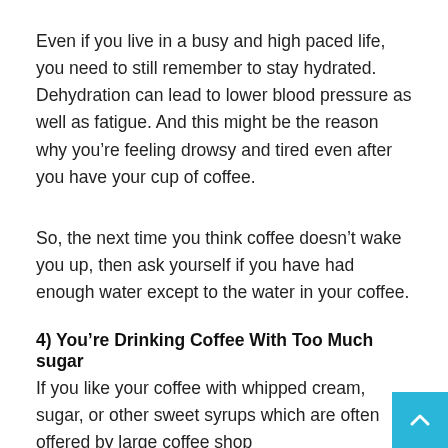Even if you live in a busy and high paced life, you need to still remember to stay hydrated. Dehydration can lead to lower blood pressure as well as fatigue. And this might be the reason why you're feeling drowsy and tired even after you have your cup of coffee.
So, the next time you think coffee doesn't wake you up, then ask yourself if you have had enough water except to the water in your coffee.
4) You're Drinking Coffee With Too Much sugar
If you like your coffee with whipped cream, sugar, or other sweet syrups which are often offered by large coffee shop chains, then you might be experiencing a sugar crash.